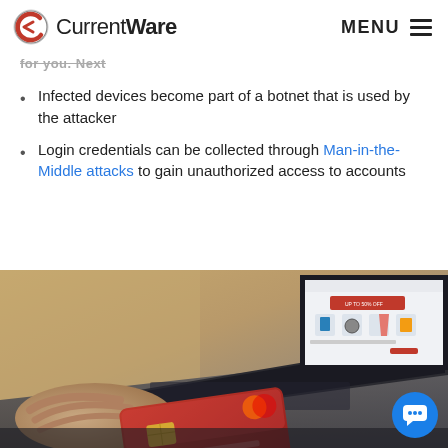CurrentWare — MENU
for you. Next
Infected devices become part of a botnet that is used by the attacker
Login credentials can be collected through Man-in-the-Middle attacks to gain unauthorized access to accounts
[Figure (photo): Person holding a red credit card in front of a laptop displaying an e-commerce website with products and a chat bubble icon in the bottom right.]